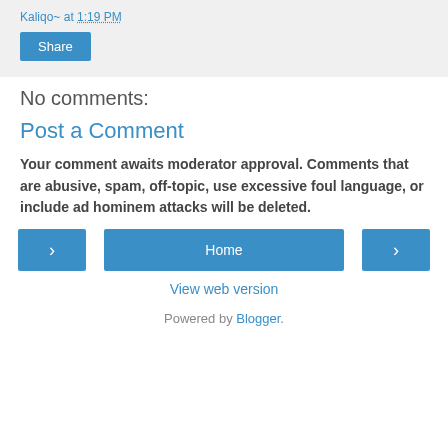Kaliqo~ at 1:19 PM
Share
No comments:
Post a Comment
Your comment awaits moderator approval. Comments that are abusive, spam, off-topic, use excessive foul language, or include ad hominem attacks will be deleted.
‹
Home
›
View web version
Powered by Blogger.